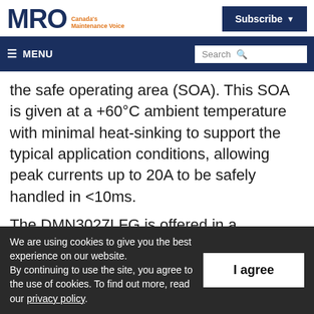MRO Canada's Maintenance Voice | Subscribe | MENU | Search
the safe operating area (SOA). This SOA is given at a +60°C ambient temperature with minimal heat-sinking to support the typical application conditions, allowing peak currents up to 20A to be safely handled in <10ms.

The DMN3027LFG is offered in a PowerDI®3333
We are using cookies to give you the best experience on our website. By continuing to use the site, you agree to the use of cookies. To find out more, read our privacy policy.